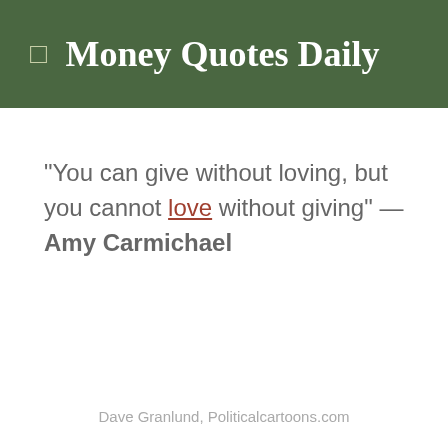Money Quotes Daily
"You can give without loving, but you cannot love without giving" — Amy Carmichael
Dave Granlund, Politicalcartoons.com